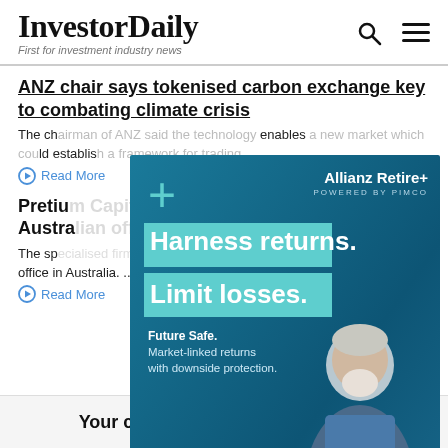InvestorDaily — First for investment industry news
ANZ chair says tokenised carbon exchange key to combating climate crisis
The ch... enables... ld establis...
Read More
Pretiu... Austra...
The sp... st office in Australia. ...
Read More
[Figure (advertisement): Allianz Retire+ powered by PIMCO advertisement. Headline: Harness returns. Limit losses. Tagline: Future Safe. Market-linked returns with downside protection. Learn more button. Shows older man in blue shirt.]
Your chance to win $500 gift card!